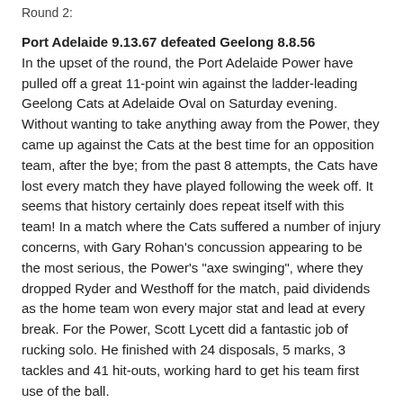Round 2:
Port Adelaide 9.13.67 defeated Geelong 8.8.56
In the upset of the round, the Port Adelaide Power have pulled off a great 11-point win against the ladder-leading Geelong Cats at Adelaide Oval on Saturday evening. Without wanting to take anything away from the Power, they came up against the Cats at the best time for an opposition team, after the bye; from the past 8 attempts, the Cats have lost every match they have played following the week off. It seems that history certainly does repeat itself with this team! In a match where the Cats suffered a number of injury concerns, with Gary Rohan's concussion appearing to be the most serious, the Power's "axe swinging", where they dropped Ryder and Westhoff for the match, paid dividends as the home team won every major stat and lead at every break. For the Power, Scott Lycett did a fantastic job of rucking solo. He finished with 24 disposals, 5 marks, 3 tackles and 41 hit-outs, working hard to get his team first use of the ball.